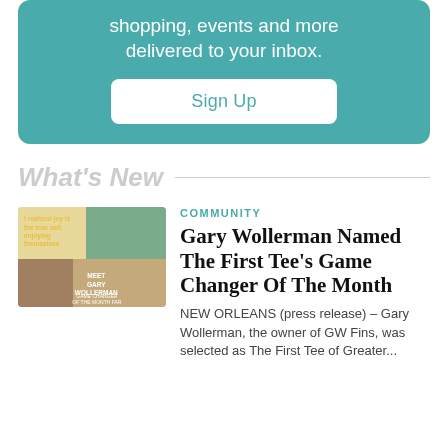shopping, events and more delivered to your inbox.
Sign Up
What's New
[Figure (photo): Collage photo of people with text overlay 'Meet Gary Wollerman Game Changer Of The Month Far']
COMMUNITY
Gary Wollerman Named The First Tee's Game Changer Of The Month
NEW ORLEANS (press release) – Gary Wollerman, the owner of GW Fins, was selected as The First Tee of Greater...